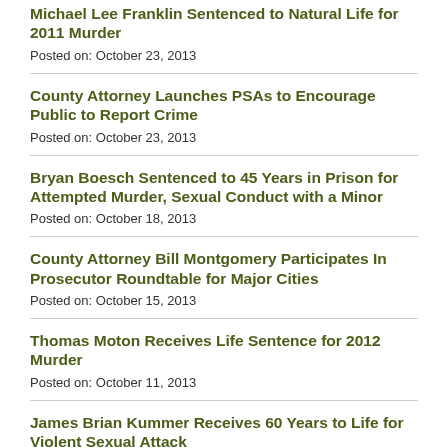Michael Lee Franklin Sentenced to Natural Life for 2011 Murder
Posted on: October 23, 2013
County Attorney Launches PSAs to Encourage Public to Report Crime
Posted on: October 23, 2013
Bryan Boesch Sentenced to 45 Years in Prison for Attempted Murder, Sexual Conduct with a Minor
Posted on: October 18, 2013
County Attorney Bill Montgomery Participates In Prosecutor Roundtable for Major Cities
Posted on: October 15, 2013
Thomas Moton Receives Life Sentence for 2012 Murder
Posted on: October 11, 2013
James Brian Kummer Receives 60 Years to Life for Violent Sexual Attack